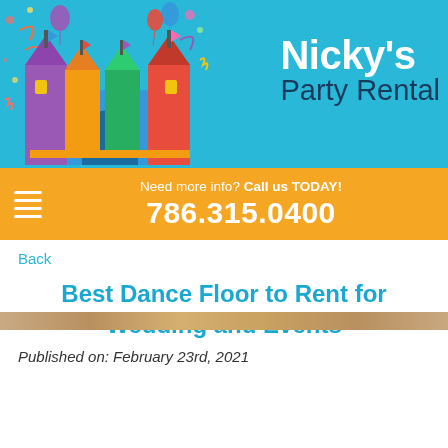[Figure (illustration): Nicky's Party Rental header banner with blue background, colorful bouncy castle on the left, and brand name 'Nicky's Party Rental' on the right]
Need more info? Call us TODAY! 786.315.0400
Back
Best Dance Floor to Rent for Wedding and Events
Published on: February 23rd, 2021
[Figure (photo): Partial image strip at the bottom showing what appears to be a dance floor or similar surface in brown/tan tones]